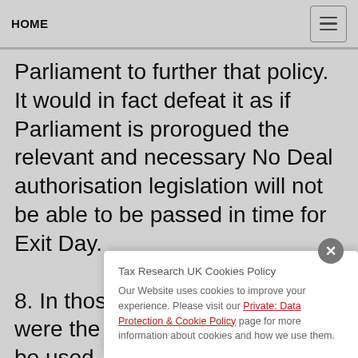HOME
Parliament to further that policy. It would in fact defeat it as if Parliament is prorogued the relevant and necessary No Deal authorisation legislation will not be able to be passed in time for Exit Day.
8. In those circumstances — were the power of suspension to be used — the only relevant active constitutional actor would be the courts which, in order to pr[otect] ri[ghts] di[rectly] ne[cessarily result from the Crown's]
Tax Research UK Cookies Policy
Our Website uses cookies to improve your experience. Please visit our Private: Data Protection & Cookie Policy page for more information about cookies and how we use them.